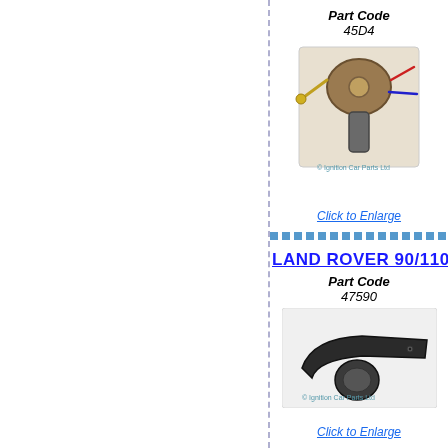Part Code
45D4
[Figure (photo): Automotive ignition distributor component, part code 45D4, with watermark © Ignition Car Parts Ltd]
Click to Enlarge
LAND ROVER 90/110
Part Code
47590
[Figure (photo): Automotive rotor arm / distributor rotor component, part code 47590, with watermark © Ignition Car Parts Ltd]
Click to Enlarge
LAND ROVER RANG
Part Code
50071
[Figure (photo): Automotive ignition component, part code 50071, partially visible]